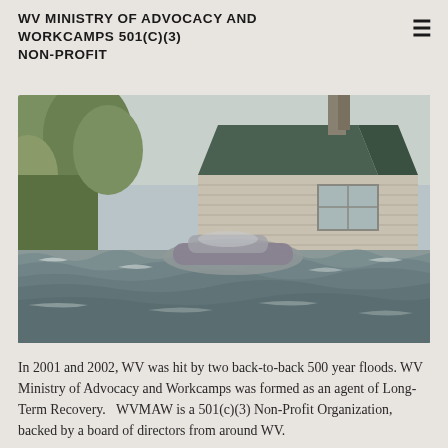WV MINISTRY OF ADVOCACY AND WORKCAMPS 501(C)(3) NON-PROFIT
[Figure (photo): Flood scene showing a partially submerged car and house surrounded by rushing brown floodwater, with leafy tree visible on the left side.]
In 2001 and 2002, WV was hit by two back-to-back 500 year floods. WV Ministry of Advocacy and Workcamps was formed as an agent of Long-Term Recovery.   WVMAW is a 501(c)(3) Non-Profit Organization, backed by a board of directors from around WV.